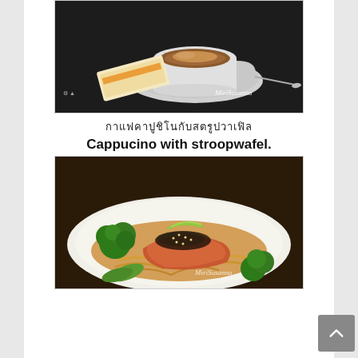[Figure (photo): Photo of a cappuccino coffee in a white cup on a saucer, with a stroopwafel cookie package on the side, on a dark table. Watermark: MiriSusanna]
กาแฟคาปูชิโนกับสตรูปวาเฟิล
Cappucino with stroopwafel.
[Figure (photo): Photo of a grilled salmon dish with sesame seeds on top, served with broccoli, snap peas, noodles, and brown sauce on a white plate. Watermark: MiriSusanna]